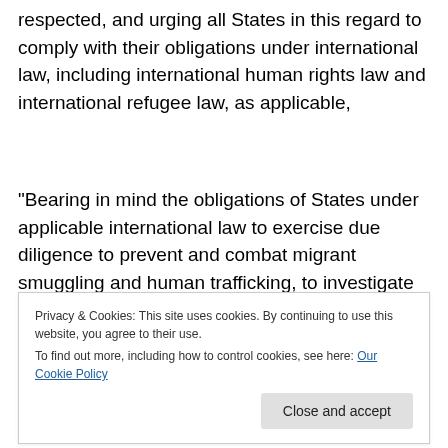respected, and urging all States in this regard to comply with their obligations under international law, including international human rights law and international refugee law, as applicable,
“Bearing in mind the obligations of States under applicable international law to exercise due diligence to prevent and combat migrant smuggling and human trafficking, to investigate and punish
perpetrators, to identify and provide effective assistance to
victims of trafficking and migrants and to cooperate to the
Privacy & Cookies: This site uses cookies. By continuing to use this website, you agree to their use.
To find out more, including how to control cookies, see here: Our Cookie Policy
Close and accept